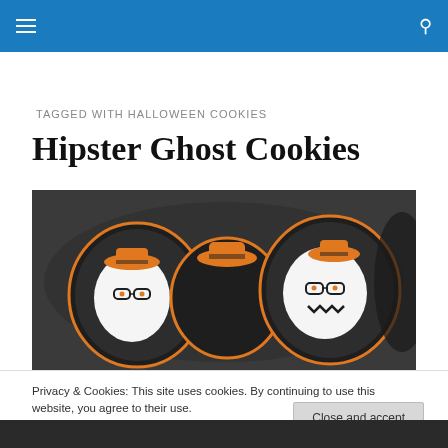Navigation menu and search icon on blue header bar
TAGGED WITH HALLOWEEN COOKIES
Hipster Ghost Cookies
[Figure (photo): Three decorated sugar cookies shaped like ghost characters, each wearing an orange hat, against a dark background. Two ghosts show full white faces with glasses; the middle ghost shows mainly the orange hat.]
Privacy & Cookies: This site uses cookies. By continuing to use this website, you agree to their use.
To find out more, including how to control cookies, see here: Cookie Policy
Close and accept